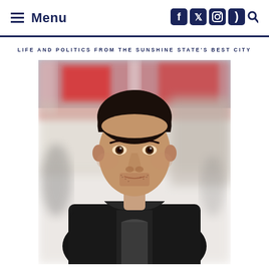Menu | Social icons: Facebook, Twitter, Instagram, RSS, Search
LIFE AND POLITICS FROM THE SUNSHINE STATE'S BEST CITY
[Figure (photo): Portrait photo of a young man with dark hair wearing a dark jacket, photographed outdoors with a blurred red and white background]